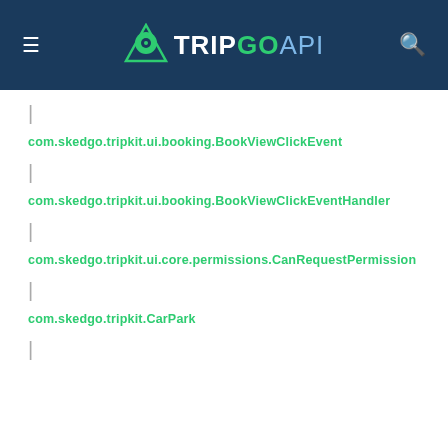TRIPGO API
|
com.skedgo.tripkit.ui.booking.BookViewClickEvent
|
com.skedgo.tripkit.ui.booking.BookViewClickEventHandler
|
com.skedgo.tripkit.ui.core.permissions.CanRequestPermission
|
com.skedgo.tripkit.CarPark
|